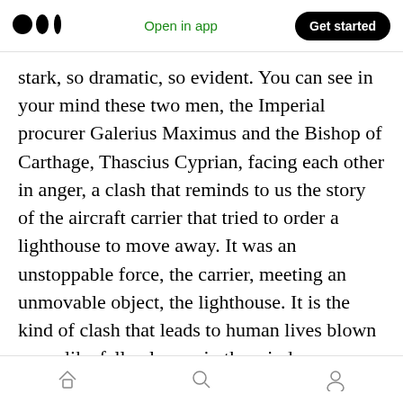Medium app header with logo, 'Open in app', and 'Get started' button
stark, so dramatic, so evident. You can see in your mind these two men, the Imperial procurer Galerius Maximus and the Bishop of Carthage, Thascius Cyprian, facing each other in anger, a clash that reminds to us the story of the aircraft carrier that tried to order a lighthouse to move away. It was an unstoppable force, the carrier, meeting an unmovable object, the lighthouse. It is the kind of clash that leads to human lives blown away like fallen leaves in the wind.
Galerius plays th [clap 25 | comment] rier, bristling with weapons, power, and movement. He is not
Bottom navigation bar with home, search, and profile icons